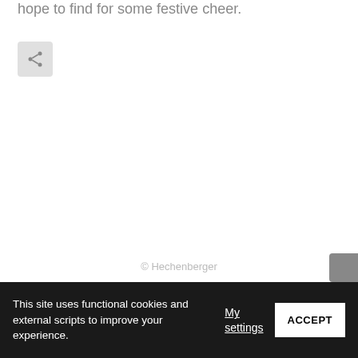hope to find for some festive cheer.
[Figure (other): Share button icon (gray rounded square with share/network icon)]
© Hechenberger
This site uses functional cookies and external scripts to improve your experience.
My settings
ACCEPT